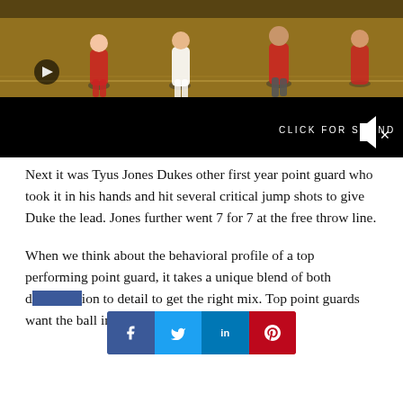[Figure (screenshot): Video player screenshot showing a basketball game with players on court. Black bar at bottom with 'CLICK FOR SOUND' text and speaker/mute icon.]
Next it was Tyus Jones Dukes other first year point guard who took it in his hands and hit several critical jump shots to give Duke the lead. Jones further went 7 for 7 at the free throw line.
When we think about the behavioral profile of a top performing point guard, it takes a unique blend of both d[obscured]ion to detail to get the right mix. Top point guards want the ball in